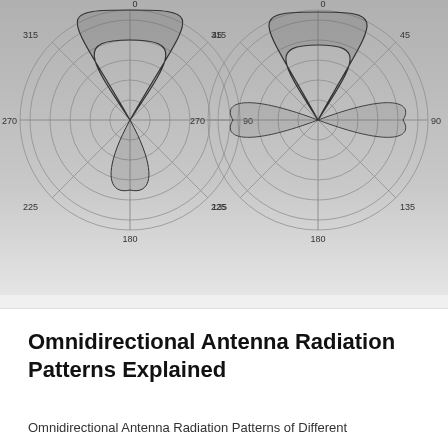[Figure (engineering-diagram): Two polar radiation pattern diagrams for omnidirectional antennas shown side by side. Both show concentric circles with angular markings at 135, 180, 225 degrees visible. The patterns show antenna radiation lobes. Background is a gradient from light gray at top to white at bottom.]
Omnidirectional Antenna Radiation Patterns Explained
Omnidirectional Antenna Radiation Patterns of Different